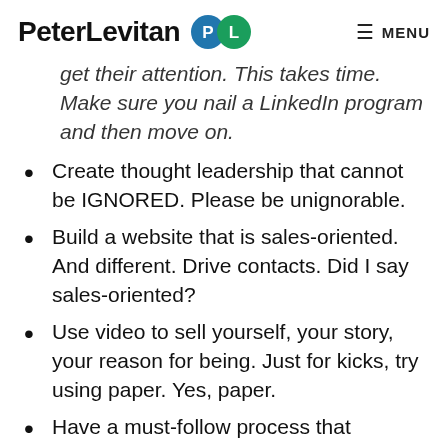PeterLevitan PL  MENU
get their attention. This takes time. Make sure you nail a LinkedIn program and then move on.
Create thought leadership that cannot be IGNORED. Please be unignorable.
Build a website that is sales-oriented. And different. Drive contacts. Did I say sales-oriented?
Use video to sell yourself, your story, your reason for being. Just for kicks, try using paper. Yes, paper.
Have a must-follow process that includes